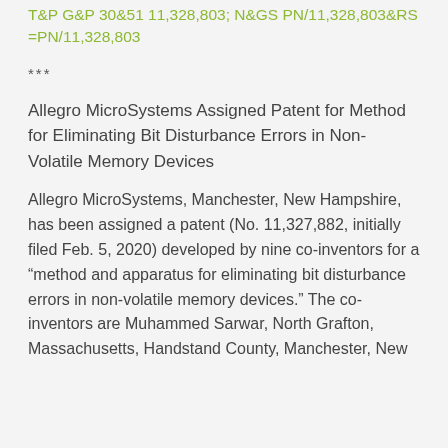T&P G&P 30&51 11,328,803; N&GS PN/11,328,803&RS=PN/11,328,803
***
Allegro MicroSystems Assigned Patent for Method for Eliminating Bit Disturbance Errors in Non-Volatile Memory Devices
Allegro MicroSystems, Manchester, New Hampshire, has been assigned a patent (No. 11,327,882, initially filed Feb. 5, 2020) developed by nine co-inventors for a “method and apparatus for eliminating bit disturbance errors in non-volatile memory devices.” The co-inventors are Muhammed Sarwar, North Grafton, Massachusetts, Handstand County, Manchester, New...